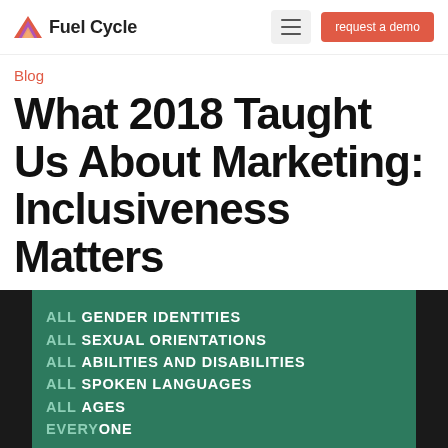Fuel Cycle | request a demo
Blog
What 2018 Taught Us About Marketing: Inclusiveness Matters
[Figure (photo): Green sign listing inclusive categories: ALL GENDER IDENTITIES, ALL SEXUAL ORIENTATIONS, ALL ABILITIES AND DISABILITIES, ALL SPOKEN LANGUAGES, ALL AGES, EVERYONE, on a dark background with dark borders on each side.]